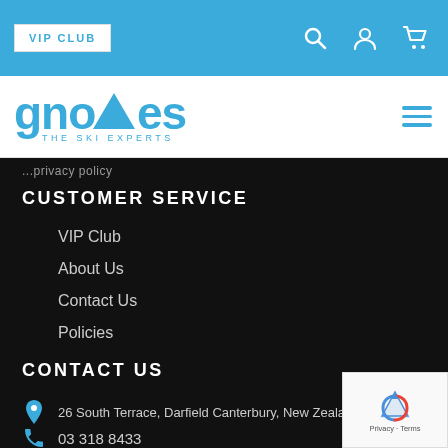VIP CLUB
[Figure (logo): Gnomes The Ski Experts logo in blue with mountain/triangle motif]
...privacy policy...
CUSTOMER SERVICE
VIP Club
About Us
Contact Us
Policies
CONTACT US
26 South Terrace, Darfield Canterbury, New Zealand, 7510
03 318 8433